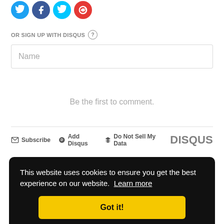[Figure (other): Social media login icons (Twitter/blue bird, Facebook blue, Twitter light blue, Google+ red circle) partially cropped at top]
OR SIGN UP WITH DISQUS ?
Name
Be the first to comment.
Subscribe  Add Disqus  Do Not Sell My Data  DISQUS
This website uses cookies to ensure you get the best experience on our website. Learn more
Got it!